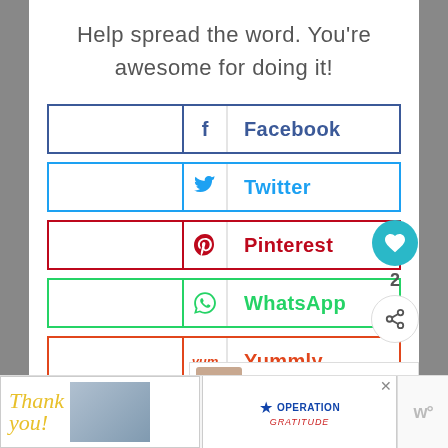Help spread the word. You're awesome for doing it!
Facebook
Twitter
Pinterest
WhatsApp
Yummly
Flipboard
Mix
WHAT'S NEXT → Change Your Lifestyle For...
[Figure (screenshot): Advertisement banner with 'Thank you' text and Operation Gratitude logo]